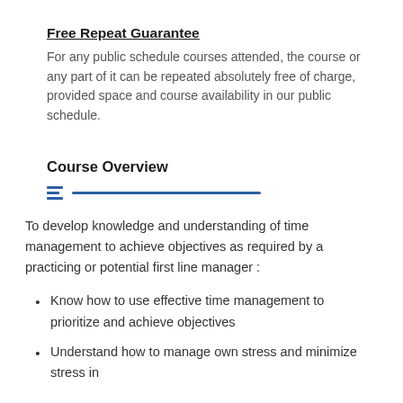Free Repeat Guarantee
For any public schedule courses attended, the course or any part of it can be repeated absolutely free of charge, provided space and course availability in our public schedule.
Course Overview
To develop knowledge and understanding of time management to achieve objectives as required by a practicing or potential first line manager :
Know how to use effective time management to prioritize and achieve objectives
Understand how to manage own stress and minimize stress in